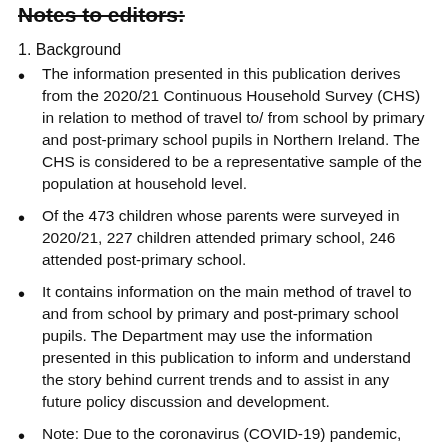Notes to editors:
1. Background
The information presented in this publication derives from the 2020/21 Continuous Household Survey (CHS) in relation to method of travel to/ from school by primary and post-primary school pupils in Northern Ireland.  The CHS is considered to be a representative sample of the population at household level.
Of the 473 children whose parents were surveyed in 2020/21, 227 children attended primary school, 246 attended post-primary school.
It contains information on the main method of travel to and from school by primary and post-primary school pupils.  The Department may use the information presented in this publication to inform and understand the story behind current trends and to assist in any future policy discussion and development.
Note: Due to the coronavirus (COVID-19) pandemic, data